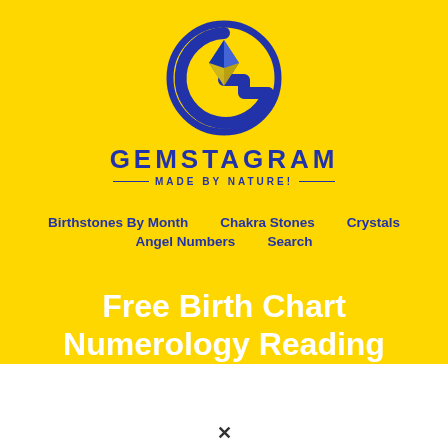[Figure (logo): Gemstagram logo: circular blue G with gem crystal inside, blue and gold colors]
GEMSTAGRAM
— MADE BY NATURE! —
Birthstones By Month   Chakra Stones   Crystals   Angel Numbers   Search
Free Birth Chart Numerology Reading
Discover your Pinnacle Self. Tap into the